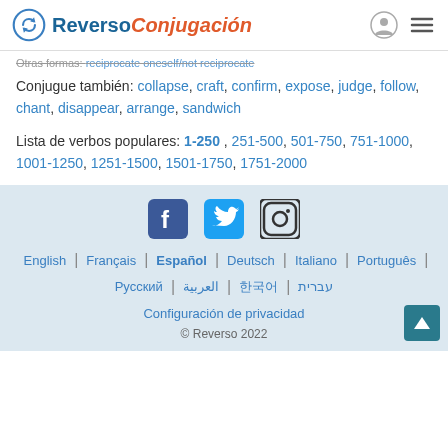Reverso Conjugación
Otras formas: reciprocate oneself/not reciprocate
Conjugue también: collapse, craft, confirm, expose, judge, follow, chant, disappear, arrange, sandwich
Lista de verbos populares: 1-250, 251-500, 501-750, 751-1000, 1001-1250, 1251-1500, 1501-1750, 1751-2000
[Figure (other): Social media icons: Facebook, Twitter, Instagram]
English | Français | Español | Deutsch | Italiano | Português | Русский | العربية | 한국어 | עברית
Configuración de privacidad
© Reverso 2022